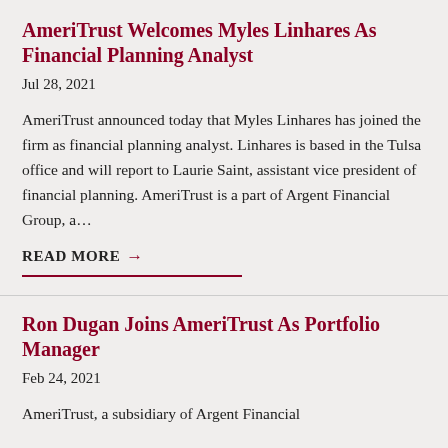AmeriTrust Welcomes Myles Linhares As Financial Planning Analyst
Jul 28, 2021
AmeriTrust announced today that Myles Linhares has joined the firm as financial planning analyst. Linhares is based in the Tulsa office and will report to Laurie Saint, assistant vice president of financial planning. AmeriTrust is a part of Argent Financial Group, a…
READ MORE →
Ron Dugan Joins AmeriTrust As Portfolio Manager
Feb 24, 2021
AmeriTrust, a subsidiary of Argent Financial